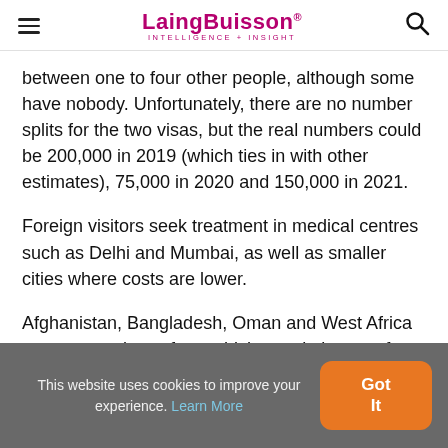LaingBuisson INTELLIGENCE + INSIGHT
between one to four other people, although some have nobody. Unfortunately, there are no number splits for the two visas, but the real numbers could be 200,000 in 2019 (which ties in with other estimates), 75,000 in 2020 and 150,000 in 2021.
Foreign visitors seek treatment in medical centres such as Delhi and Mumbai, as well as smaller cities where costs are lower.
Afghanistan, Bangladesh, Oman and West Africa are among places from which people journey for treatment ranging from
This website uses cookies to improve your experience. Learn More  Got It